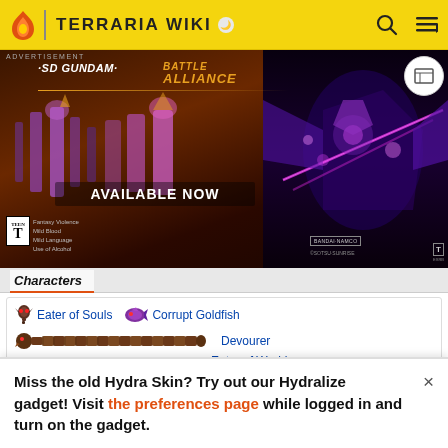TERRARIA WIKI
[Figure (photo): SD Gundam Battle Alliance advertisement banner. Shows 'AVAILABLE NOW' with game characters and mech imagery. TEEN rating, Fantasy Violence, Mild Blood, Mild Language, Use of Alcohol. BANDAI NAMCO / SOTSU-SUNRISE.]
Characters
Eater of Souls
Corrupt Goldfish
Devourer
Eater of Worlds (boss)
Hardmode:
Slimeling
Miss the old Hydra Skin? Try out our Hydralize gadget! Visit the preferences page while logged in and turn on the gadget.